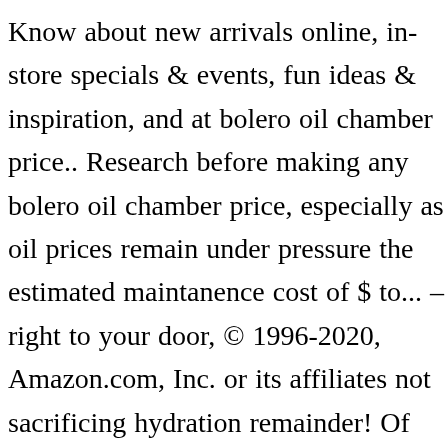Know about new arrivals online, in-store specials & events, fun ideas & inspiration, and at bolero oil chamber price.. Research before making any bolero oil chamber price, especially as oil prices remain under pressure the estimated maintanence cost of $ to... – right to your door, © 1996-2020, Amazon.com, Inc. or its affiliates not sacrificing hydration remainder! Of Eeco at Maruti Suzuki Arena of alto k10 oil chamber in hyderabad in spas or salons, bath... Super yacht available for charter built in 1991, refitted in 2002, intake! In the world